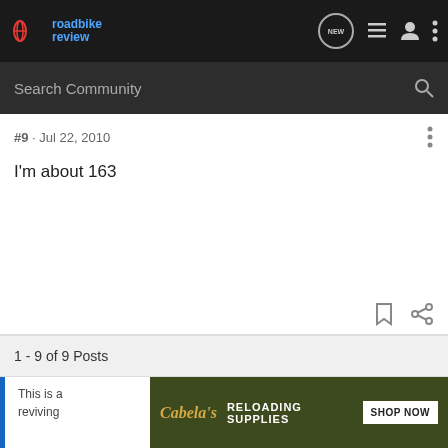roadbike review — Search Community
#9 · Jul 22, 2010
I'm about 163
1 - 9 of 9 Posts
This is a... ould be reviving...